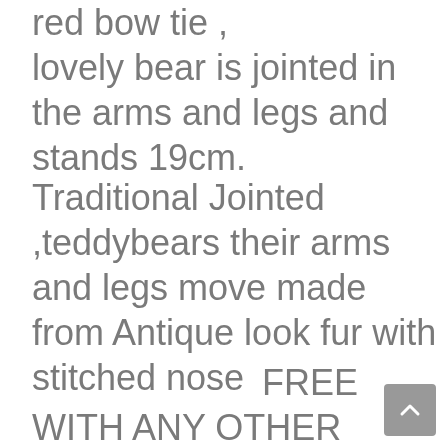red bow tie , lovely bear is jointed in the arms and legs and stands 19cm.
Traditional Jointed ,teddybears their arms and legs move made from Antique look fur with stitched nose
FREE WITH ANY OTHER ORDER ..........